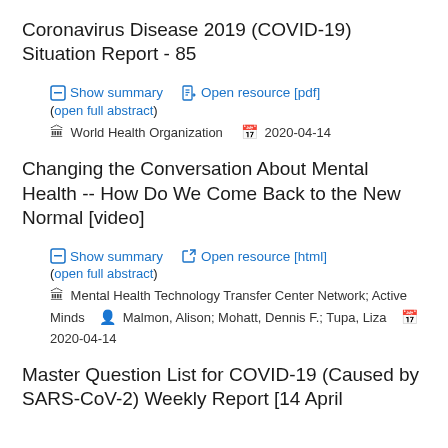Coronavirus Disease 2019 (COVID-19) Situation Report - 85
Show summary | Open resource [pdf] | (open full abstract) | World Health Organization | 2020-04-14
Changing the Conversation About Mental Health -- How Do We Come Back to the New Normal [video]
Show summary | Open resource [html] | (open full abstract) | Mental Health Technology Transfer Center Network; Active Minds | Malmon, Alison; Mohatt, Dennis F.; Tupa, Liza | 2020-04-14
Master Question List for COVID-19 (Caused by SARS-CoV-2) Weekly Report [14 April